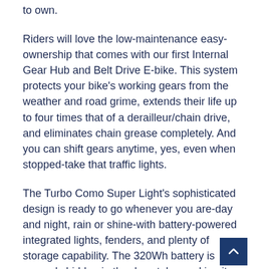to own.
Riders will love the low-maintenance easy-ownership that comes with our first Internal Gear Hub and Belt Drive E-bike. This system protects your bike's working gears from the weather and road grime, extends their life up to four times that of a derailleur/chain drive, and eliminates chain grease completely. And you can shift gears anytime, yes, even when stopped-take that traffic lights.
The Turbo Como Super Light's sophisticated design is ready to go whenever you are-day and night, rain or shine-with battery-powered integrated lights, fenders, and plenty of storage capability. The 320Wh battery is securely hidden in the downtube, making it almost indistinguishable from a regular bike at first glance. But on days when you want to do more, attach the optional Range Extender to go up to 120 miles before needing a recharge. Trust us when we say, you'll find yourself making up errands just so you can ride it again.